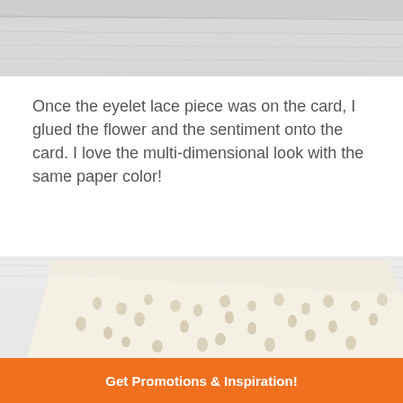[Figure (photo): Close-up photo of white marble or textured surface at top of page, partially cropped]
Once the eyelet lace piece was on the card, I glued the flower and the sentiment onto the card. I love the multi-dimensional look with the same paper color!
[Figure (photo): Close-up photo of white eyelet lace paper with punched circular/oval holes arranged in a scattered pattern on cream/white card stock]
Get Promotions & Inspiration!